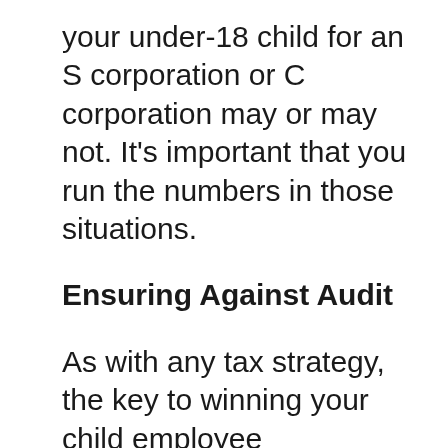your under-18 child for an S corporation or C corporation may or may not. It’s important that you run the numbers in those situations.
Ensuring Against Audit
As with any tax strategy, the key to winning your child employee deductions